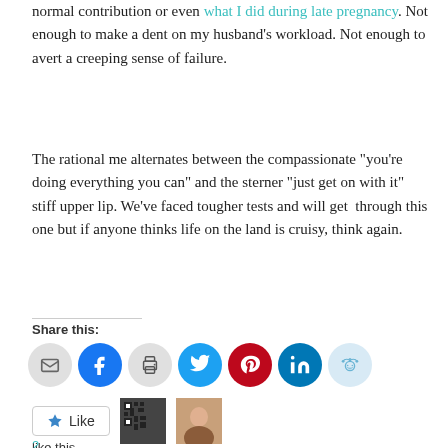normal contribution or even what I did during late pregnancy. Not enough to make a dent on my husband’s workload. Not enough to avert a creeping sense of failure.
The rational me alternates between the compassionate “you’re doing everything you can” and the sterner “just get on with it” stiff upper lip. We’ve faced tougher tests and will get through this one but if anyone thinks life on the land is cruisy, think again.
Share this:
[Figure (infographic): Row of social share icon buttons: email (gray circle), Facebook (blue circle), print (gray circle), Twitter (blue circle), Pinterest (red circle), LinkedIn (teal circle), Reddit (light blue circle)]
[Figure (infographic): Like button with star icon and text 'Like', followed by two small avatar/QR images]
2 bloggers like this.